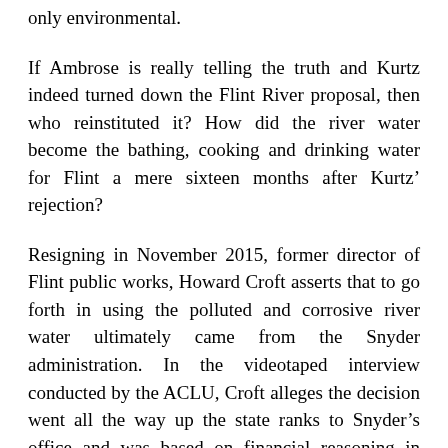only environmental.
If Ambrose is really telling the truth and Kurtz indeed turned down the Flint River proposal, then who reinstituted it? How did the river water become the bathing, cooking and drinking water for Flint a mere sixteen months after Kurtz’ rejection?
Resigning in November 2015, former director of Flint public works, Howard Croft asserts that to go forth in using the polluted and corrosive river water ultimately came from the Snyder administration. In the videotaped interview conducted by the ACLU, Croft alleges the decision went all the way up the state ranks to Snyder’s office and was based on financial reasoning in saving money.
To verify, Croft is quizzed, “All the way up to the governor’s office,” where Croft confirms in repeating.